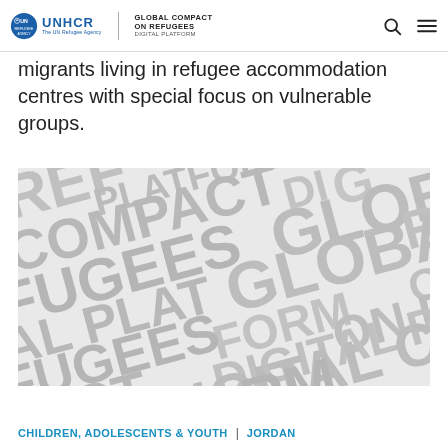UNHCR | GLOBAL COMPACT ON REFUGEES DIGITAL PLATFORM
migrants living in refugee accommodation centres with special focus on vulnerable groups.
[Figure (illustration): Word cloud background image with large grey text showing repeated words: REFUGEES, GLOBAL, COMPACT, DIGITAL, PLATFORM on a light grey background]
CHILDREN, ADOLESCENTS & YOUTH | JORDAN